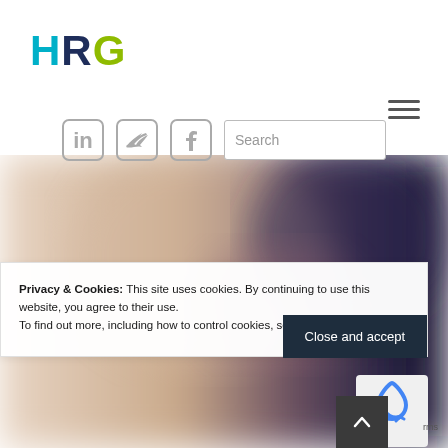[Figure (logo): HRG logo with H in teal, R in dark navy, G in yellow-green]
[Figure (infographic): Hamburger menu icon (three horizontal lines) in top right area]
[Figure (infographic): Social media icons row: LinkedIn, Twitter, Facebook, plus a Search input box]
[Figure (photo): Blurred hero image with warm beige tones on left and dark blue/purple tones on right, showing abstract blurred person or scene]
Privacy & Cookies: This site uses cookies. By continuing to use this website, you agree to their use.
To find out more, including how to control cookies, see here: Cookie Policy
[Figure (infographic): Close and accept button (dark background, white text)]
[Figure (infographic): reCAPTCHA logo badge]
[Figure (infographic): Back to top arrow button (dark grey square with upward chevron)]